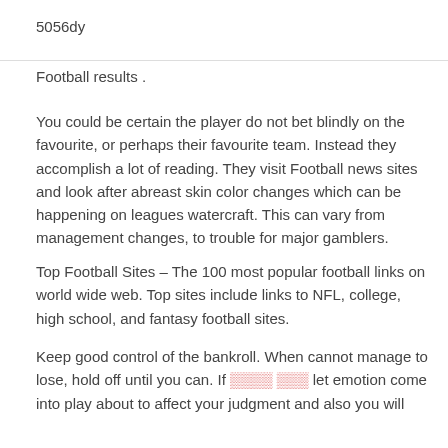5056dy
Football results .
You could be certain the player do not bet blindly on the favourite, or perhaps their favourite team. Instead they accomplish a lot of reading. They visit Football news sites and look after abreast skin color changes which can be happening on leagues watercraft. This can vary from management changes, to trouble for major gamblers.
Top Football Sites – The 100 most popular football links on world wide web. Top sites include links to NFL, college, high school, and fantasy football sites.
Keep good control of the bankroll. When cannot manage to lose, hold off until you can. If [redacted] [redacted] let emotion come into play about to affect your judgment and also you will